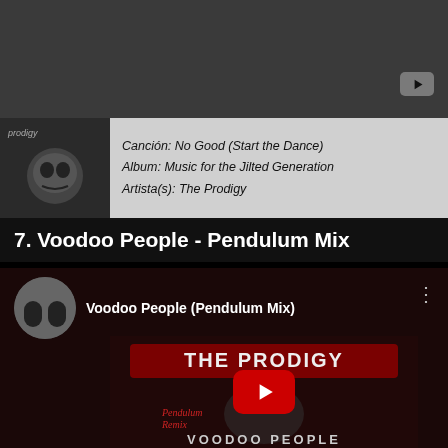[Figure (screenshot): Dark grey top bar of a webpage/app with a YouTube icon button in the top right corner]
[Figure (screenshot): Music info bar with album art thumbnail (The Prodigy - Music for the Jilted Generation) and text showing song, album, and artist details]
Canción: No Good (Start the Dance)
Album: Music for the Jilted Generation
Artista(s): The Prodigy
7. Voodoo People - Pendulum Mix
[Figure (screenshot): YouTube video embed showing Voodoo People (Pendulum Mix) by The Prodigy, with The Prodigy Pendulum Remix artwork visible, including a red play button overlay and text 'VOODOO PEOPLE' at the bottom]